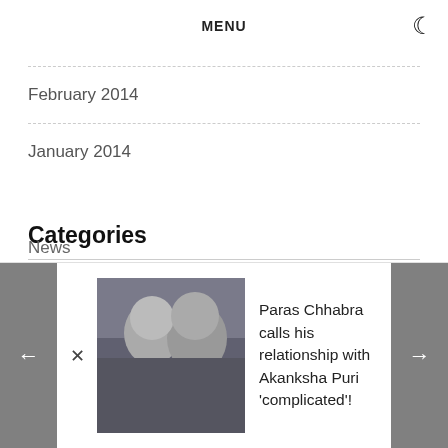MENU
February 2014
January 2014
Categories
News
Paras Chhabra calls his relationship with Akanksha Puri 'complicated'!